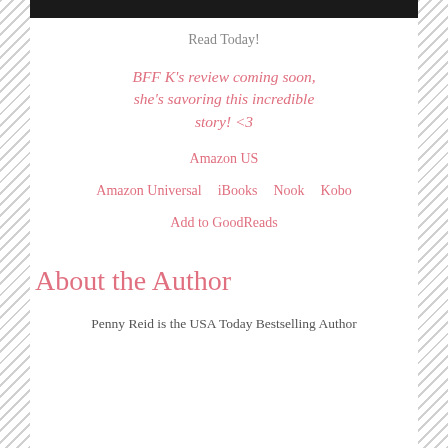[Figure (photo): Top portion of a book cover image, dark background with stylized red text]
Read Today!
BFF K's review coming soon, she's savoring this incredible story! <3
Amazon US
Amazon Universal    iBooks    Nook    Kobo
Add to GoodReads
About the Author
Penny Reid is the USA Today Bestselling Author